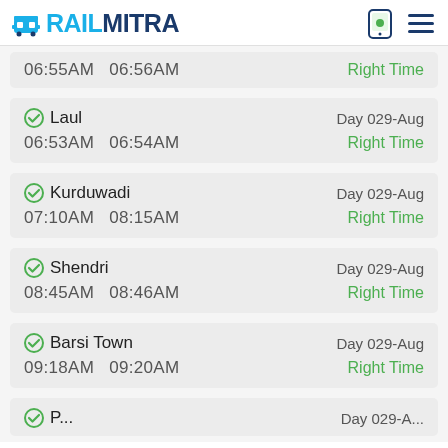RAILMITRA
06:55AM   06:56AM   Right Time
Laul   Day 029-Aug   06:53AM   06:54AM   Right Time
Kurduwadi   Day 029-Aug   07:10AM   08:15AM   Right Time
Shendri   Day 029-Aug   08:45AM   08:46AM   Right Time
Barsi Town   Day 029-Aug   09:18AM   09:20AM   Right Time
partial station visible